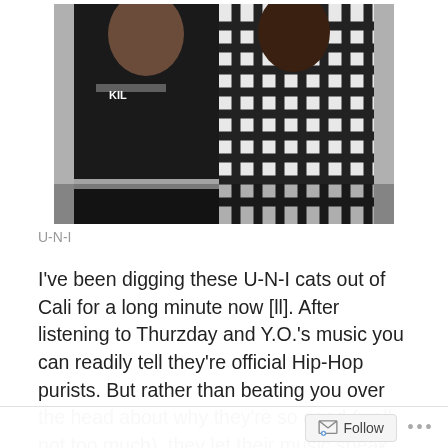[Figure (photo): Two people posing for a photo; one wearing a black shirt, the other wearing a black and white checked flannel shirt]
U-N-I
I've been digging these U-N-I cats out of Cali for a long minute now [ll]. After listening to Thurzday and Y.O.'s music you can readily tell they're official Hip-Hop purists. But rather than beating you over the head about why they're so good (well, not too much), they let their music speak for themselves.
You can download their A Love Supreme project with producer Ro Blvd right here (via YoThurz.com). Do yourself a favor and go find their first album, Fried Chicken